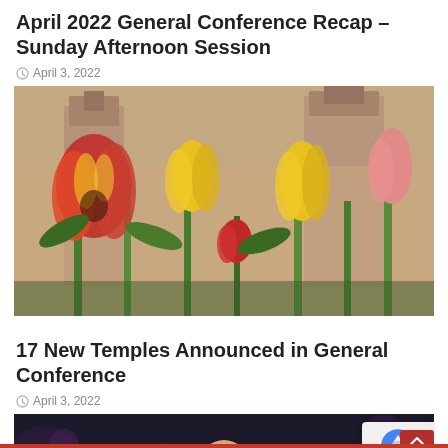April 2022 General Conference Recap – Sunday Afternoon Session
April 3, 2022
[Figure (photo): Close-up photo of colorful tulips (red, orange, yellow) in bloom with a blurred LDS temple in the background]
17 New Temples Announced in General Conference
April 3, 2022
[Figure (photo): Partially visible photo of a bald man at a podium with a dark floral background, partially covered by a reCAPTCHA badge and scroll-to-top button]